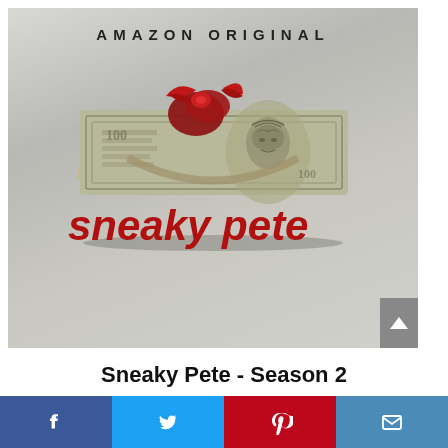[Figure (photo): Amazon Original Sneaky Pete Season 2 promotional poster showing a wad of cash with red wax seal and red italic text 'sneaky pete' at the bottom]
Sneaky Pete - Season 2
[Figure (infographic): Social media share bar with Facebook, Twitter, Pinterest, and Email buttons]